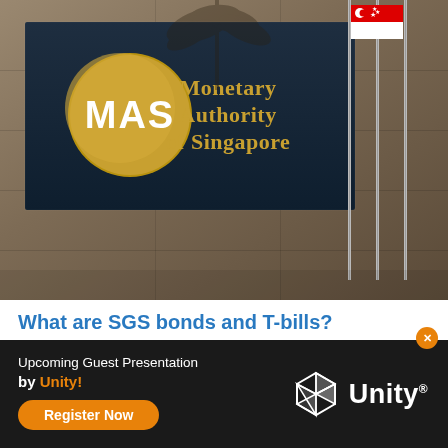[Figure (photo): Exterior photo of the Monetary Authority of Singapore (MAS) building facade, showing the dark blue MAS sign panel with a gold circular logo bearing 'MAS' text, gold lettering reading 'Monetary Authority of Singapore', flagpoles with Singapore flag, and palm trees in the background.]
What are SGS bonds and T-bills?
A relatively safer investment option for newer investor who are looking to explore in the fixed income market.
Upcoming Guest Presentation by Unity!
Register Now